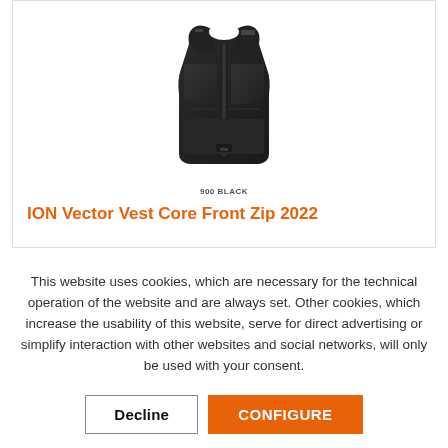[Figure (photo): Black ION Vector Vest Core Front Zip 2022 protective vest on white background]
900 BLACK
ION Vector Vest Core Front Zip 2022
This website uses cookies, which are necessary for the technical operation of the website and are always set. Other cookies, which increase the usability of this website, serve for direct advertising or simplify interaction with other websites and social networks, will only be used with your consent.
Decline
CONFIGURE